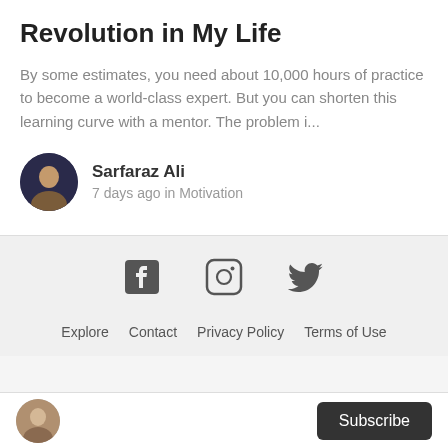Revolution in My Life
By some estimates, you need about 10,000 hours of practice to become a world-class expert. But you can shorten this learning curve with a mentor. The problem i...
Sarfaraz Ali
7 days ago in Motivation
[Figure (other): Social media icons: Facebook, Instagram, Twitter]
Explore   Contact   Privacy Policy   Terms of Use